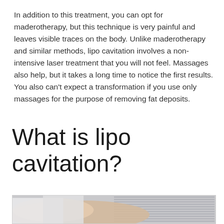In addition to this treatment, you can opt for maderotherapy, but this technique is very painful and leaves visible traces on the body. Unlike maderotherapy and similar methods, lipo cavitation involves a non-intensive laser treatment that you will not feel. Massages also help, but it takes a long time to notice the first results. You also can't expect a transformation if you use only massages for the purpose of removing fat deposits.
What is lipo cavitation?
[Figure (photo): A photo showing a medical or beauty treatment being applied, with a person's hands and body visible, suggesting a lipo cavitation or similar treatment procedure.]